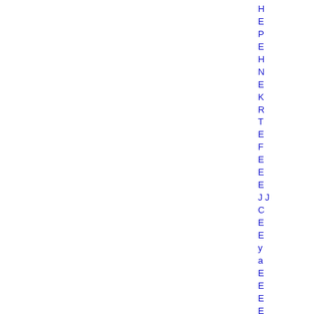H
E
P
E
H
N
E
K
R
T
E
F
E
E
E
J J
C
E
E
y
a
E
E
E
E
M
E
E